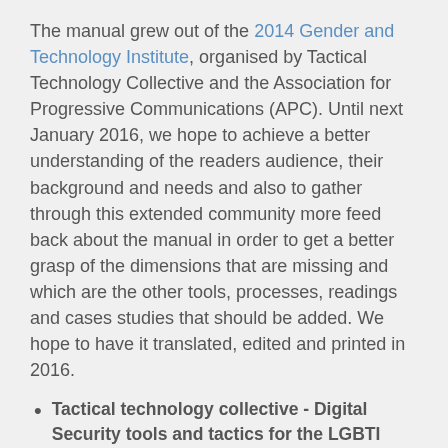The manual grew out of the 2014 Gender and Technology Institute, organised by Tactical Technology Collective and the Association for Progressive Communications (APC). Until next January 2016, we hope to achieve a better understanding of the readers audience, their background and needs and also to gather through this extended community more feed back about the manual in order to get a better grasp of the dimensions that are missing and which are the other tools, processes, readings and cases studies that should be added. We hope to have it translated, edited and printed in 2016.
Tactical technology collective - Digital Security tools and tactics for the LGBTI community in the Middle East and North Africa
Link: https://securityinabox.org/en/lgbti-mena